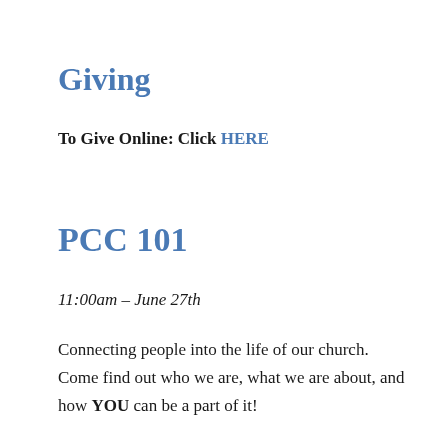Giving
To Give Online: Click HERE
PCC 101
11:00am - June 27th
Connecting people into the life of our church. Come find out who we are, what we are about, and how YOU can be a part of it!